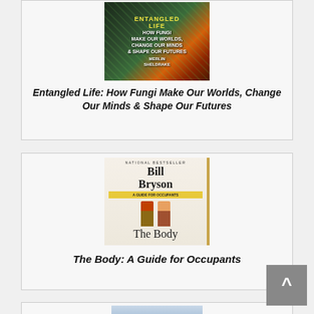[Figure (illustration): Book cover of 'Entangled Life: How Fungi Make Our Worlds, Change Our Minds & Shape Our Futures' by Merlin Sheldrake — dark background with colorful fungi and plants]
Entangled Life: How Fungi Make Our Worlds, Change Our Minds & Shape Our Futures
[Figure (illustration): Book cover of 'The Body: A Guide for Occupants' by Bill Bryson — light cream background with illustrated human figures, National Bestseller banner]
The Body: A Guide for Occupants
[Figure (illustration): Partial book cover visible at the bottom of the page — light blue and beige tones]